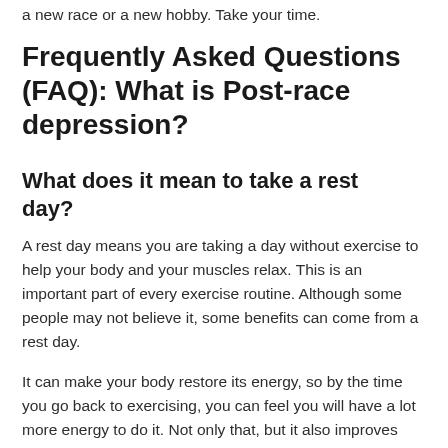a new race or a new hobby. Take your time.
Frequently Asked Questions (FAQ): What is Post-race depression?
What does it mean to take a rest day?
A rest day means you are taking a day without exercise to help your body and your muscles relax. This is an important part of every exercise routine. Although some people may not believe it, some benefits can come from a rest day.
It can make your body restore its energy, so by the time you go back to exercising, you can feel you will have a lot more energy to do it. Not only that, but it also improves your muscle endurance, making it possible for you to do your activities for...